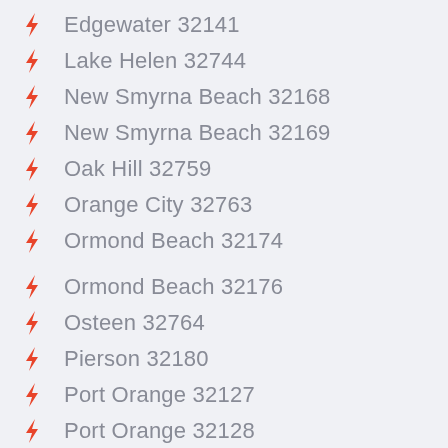Edgewater 32141
Lake Helen 32744
New Smyrna Beach 32168
New Smyrna Beach 32169
Oak Hill 32759
Orange City 32763
Ormond Beach 32174
Ormond Beach 32176
Osteen 32764
Pierson 32180
Port Orange 32127
Port Orange 32128